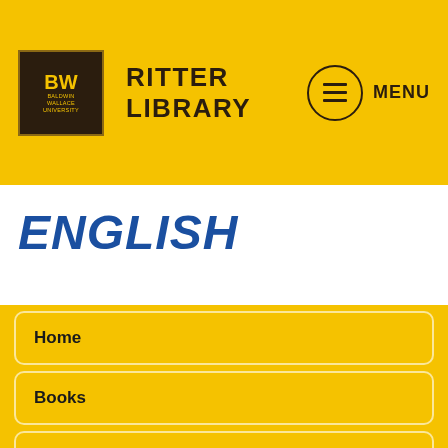BW RITTER LIBRARY   MENU
ENGLISH
Home
Books
Periodicals
Databases